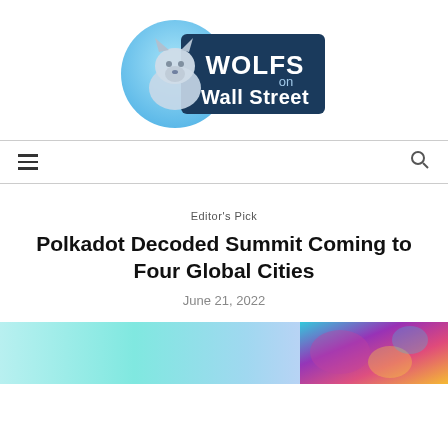[Figure (logo): Wolfs on Wall Street logo: wolf head icon in blue circle with dark blue rectangular banner reading WOLFS on Wall Street in white bold text]
≡   🔍
Editor's Pick
Polkadot Decoded Summit Coming to Four Global Cities
June 21, 2022
[Figure (illustration): Colorful abstract/NFT style illustration with teal, purple, pink and yellow tones, partially visible at bottom of page]